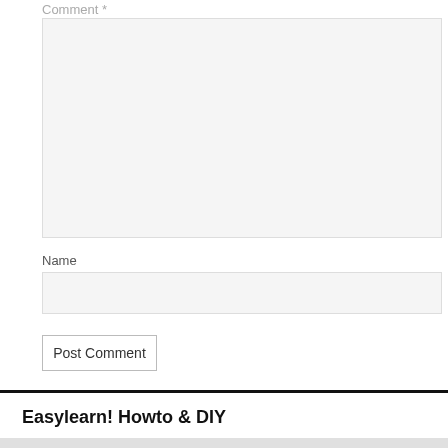Comment *
Name
Post Comment
Easylearn! Howto & DIY